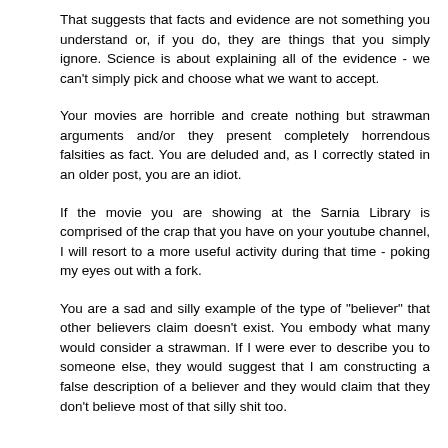That suggests that facts and evidence are not something you understand or, if you do, they are things that you simply ignore. Science is about explaining all of the evidence - we can't simply pick and choose what we want to accept.
Your movies are horrible and create nothing but strawman arguments and/or they present completely horrendous falsities as fact. You are deluded and, as I correctly stated in an older post, you are an idiot.
If the movie you are showing at the Sarnia Library is comprised of the crap that you have on your youtube channel, I will resort to a more useful activity during that time - poking my eyes out with a fork.
You are a sad and silly example of the type of "believer" that other believers claim doesn't exist. You embody what many would consider a strawman. If I were ever to describe you to someone else, they would suggest that I am constructing a false description of a believer and they would claim that they don't believe most of that silly shit too.